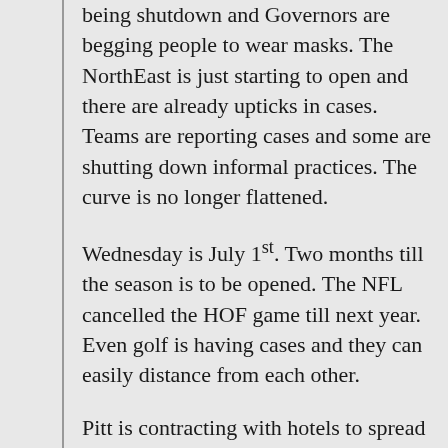being shutdown and Governors are begging people to wear masks. The NorthEast is just starting to open and there are already upticks in cases. Teams are reporting cases and some are shutting down informal practices. The curve is no longer flattened.
Wednesday is July 1st. Two months till the season is to be opened. The NFL cancelled the HOF game till next year. Even golf is having cases and they can easily distance from each other.
Pitt is contracting with hotels to spread out student housing, but there are still elevators in most buildings although I think a lot more stairs will be used. How do you keep kids from partying?